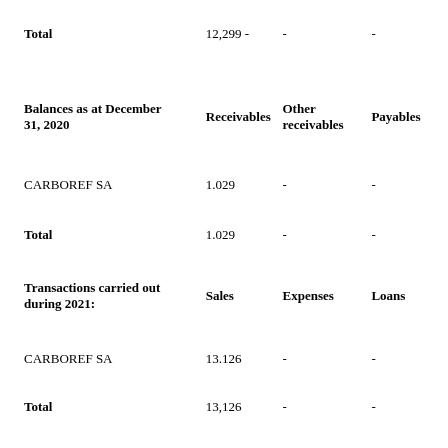|  | Receivables / Sales | Other receivables / Expenses | Payables / Loans |
| --- | --- | --- | --- |
| Total | 12,299 - | - | - |
| Balances as at December 31, 2020 | Receivables | Other receivables | Payables |
| CARBOREF SA | 1.029 | - | - |
| Total | 1.029 | - | - |
| Transactions carried out during 2021: | Sales | Expenses | Loans |
| CARBOREF SA | 13.126 | - | - |
| Total | 13,126 | - | - |